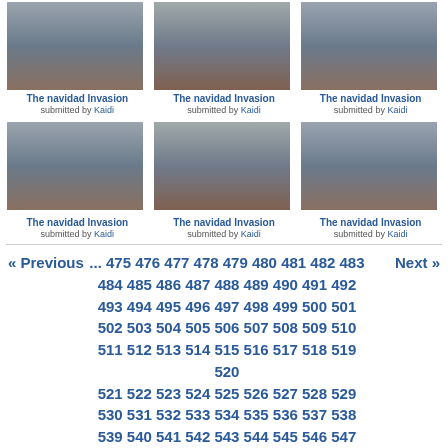[Figure (photo): Three thumbnail photos of 'The navidad Invasion' showing people walking outdoors]
The navidad Invasion submitted by Kaidi (x3, top row)
[Figure (photo): Three thumbnail photos of 'The navidad Invasion' showing people walking outdoors]
The navidad Invasion submitted by Kaidi (x3, bottom row)
« Previous ... 475 476 477 478 479 480 481 482 483 484 485 486 487 488 489 490 491 492 493 494 495 496 497 498 499 500 501 502 503 504 505 506 507 508 509 510 511 512 513 514 515 516 517 518 519 520 521 522 523 524 525 526 527 528 529 530 531 532 533 534 535 536 537 538 539 540 541 542 543 544 545 546 547 548 549 550 551 552 553 554 555 556 557 558 559 560 561 562 563 564 565 566 567 568 569 570 571 572 573 574 575 576 577 578 579 580 581 582 583 584 585 586 587 588 589 590 591 592 593 594 595 596 597 598 599 600 601 602 603 604 605 606 607 608 609 610 Next »